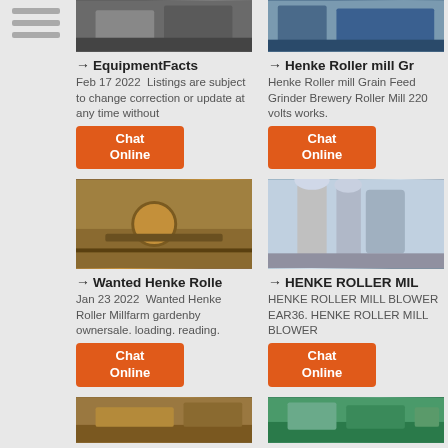[Figure (photo): Industrial equipment/machinery top left card image]
→ EquipmentFacts
Feb 17 2022  Listings are subject to change correction or update at any time without
[Figure (other): Chat Online button left top]
[Figure (photo): Industrial roller mill machinery top right card image]
→ Henke Roller mill Gr
Henke Roller mill Grain Feed Grinder Brewery Roller Mill 220 volts works.
[Figure (other): Chat Online button right top]
[Figure (photo): Mining/quarry equipment mid left card image]
→ Wanted Henke Rolle
Jan 23 2022  Wanted Henke Roller Millfarm gardenby ownersale. loading. reading.
[Figure (other): Chat Online button left mid]
[Figure (photo): Industrial tower/separator machinery mid right card image]
→ HENKE ROLLER MIL
HENKE ROLLER MILL BLOWER EAR36. HENKE ROLLER MILL BLOWER
[Figure (other): Chat Online button right mid]
[Figure (photo): Quarry/mining equipment bottom left card image]
[Figure (photo): Industrial machinery bottom right card image]